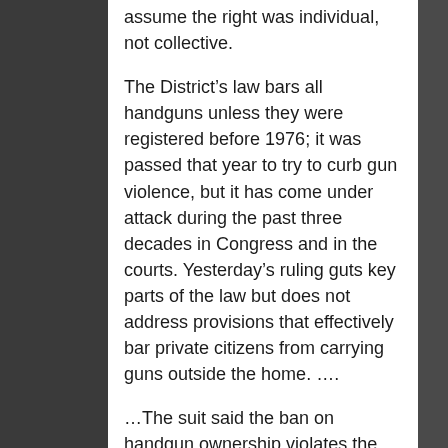assume the right was individual, not collective.
The District’s law bars all handguns unless they were registered before 1976; it was passed that year to try to curb gun violence, but it has come under attack during the past three decades in Congress and in the courts. Yesterday’s ruling guts key parts of the law but does not address provisions that effectively bar private citizens from carrying guns outside the home. ….
…The suit said the ban on handgun ownership violates the Second Amendment, which states: “A well regulated militia, being necessary to the security of a free state, the right of the people to keep and bear arms, shall not be infringed.”